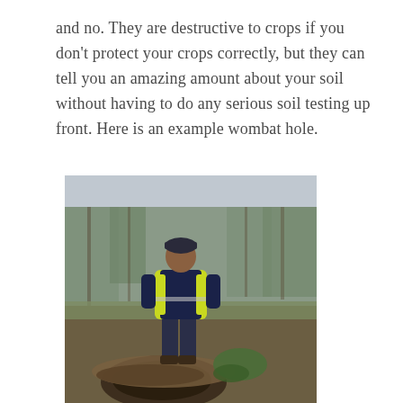and no. They are destructive to crops if you don't protect your crops correctly, but they can tell you an amazing amount about your soil without having to do any serious soil testing up front. Here is an example wombat hole.
[Figure (photo): A person wearing a yellow high-visibility jacket and dark cap standing in a bushy outdoor setting near a large wombat burrow/hole in the ground, with trees and ferns visible in the background.]